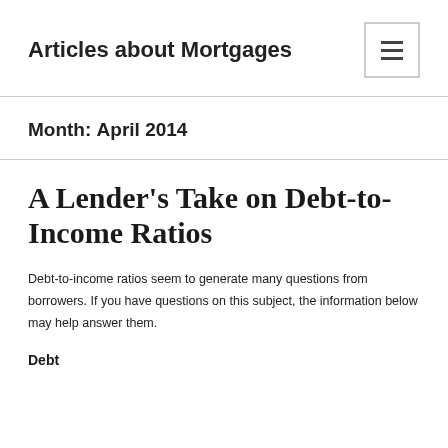Articles about Mortgages
Month: April 2014
A Lender's Take on Debt-to-Income Ratios
Debt-to-income ratios seem to generate many questions from borrowers. If you have questions on this subject, the information below may help answer them.
Debt